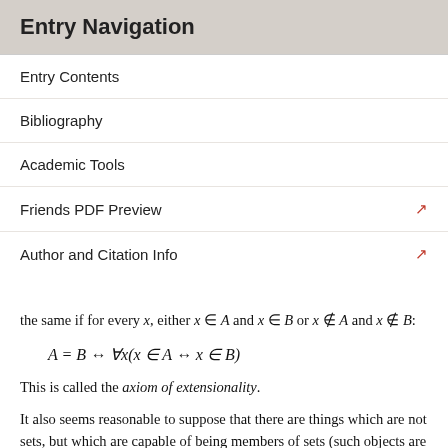Entry Navigation
Entry Contents
Bibliography
Academic Tools
Friends PDF Preview
Author and Citation Info
the same if for every x, either x ∈ A and x ∈ B or x ∉ A and x ∉ B:
This is called the axiom of extensionality.
It also seems reasonable to suppose that there are things which are not sets, but which are capable of being members of sets (such objects are often called atoms or urelements). These objects will have no elements (like the empty set) but will be distinct from one another and from